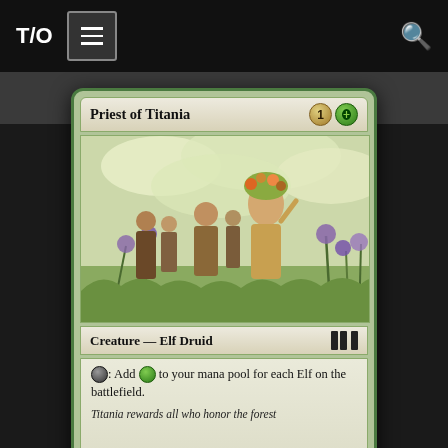T/O [menu] [search]
[Figure (illustration): Magic: The Gathering card screenshot — Priest of Titania. Green creature card costing 1G. Art shows elven figures among flowering plants. Type: Creature — Elf Druid. Tap ability adds green mana for each Elf on the battlefield. Flavor text: Titania rewards all who honor the forest.]